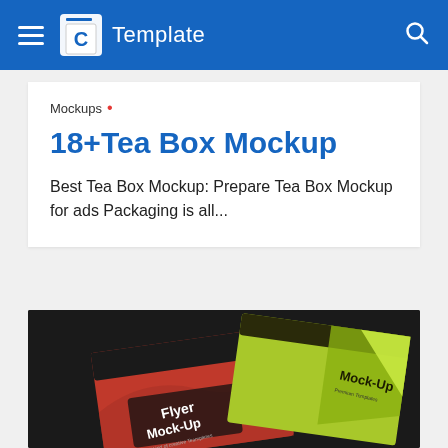C Template
Mockups •
18+Tea Box Mockup
Best Tea Box Mockup: Prepare Tea Box Mockup for ads Packaging is all...
[Figure (photo): Photo of two flyer/card mockups on a dark background — one red with 'Flyer Mock-Up' text, one yellow-green with 'Mock-Up' text]